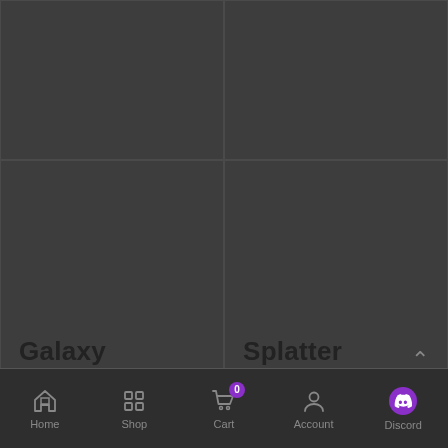[Figure (screenshot): App screen showing a 2x2 grid of dark product tiles. Top row has two gray image placeholders. Bottom row left shows label 'Galaxy', bottom row right shows label 'Splatter'. An up-arrow chevron appears at the bottom right of the grid. Below is a navigation bar with icons and labels: Home, Shop, Cart (with badge '0'), Account, Discord.]
Home  Shop  Cart  Account  Discord